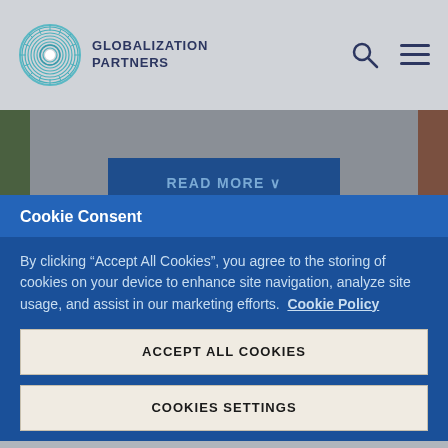[Figure (logo): Globalization Partners logo with circular teal icon and dark navy text]
[Figure (screenshot): READ MORE button partially visible behind cookie consent modal overlay on a website]
Cookie Consent
By clicking “Accept All Cookies”, you agree to the storing of cookies on your device to enhance site navigation, analyze site usage, and assist in our marketing efforts.  Cookie Policy
ACCEPT ALL COOKIES
COOKIES SETTINGS